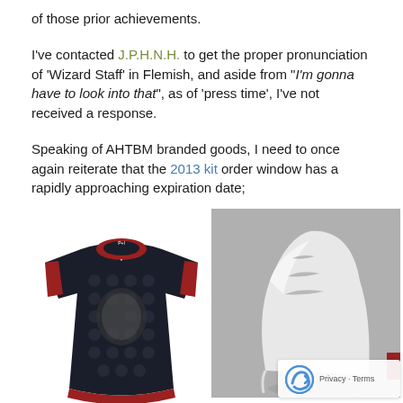of those prior achievements.
I've contacted J.P.H.N.H. to get the proper pronunciation of 'Wizard Staff' in Flemish, and aside from "I'm gonna have to look into that", as of 'press time', I've not received a response.
Speaking of AHTBM branded goods, I need to once again reiterate that the 2013 kit order window has a rapidly approaching expiration date;
[Figure (photo): A black cycling jersey with red trim and a crest design on the front, displayed on a mannequin.]
[Figure (photo): A white cycling helmet shown from the side on a gray background.]